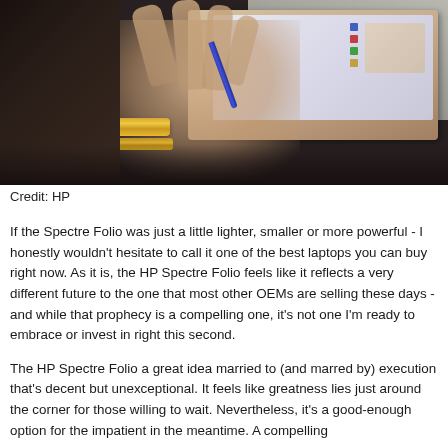[Figure (photo): A person's hand with gold bracelets touching or using a tablet/laptop device, photographed from above at an angle. The device has a leather-like cover. Sunlight creates contrast in the image.]
Credit: HP
If the Spectre Folio was just a little lighter, smaller or more powerful - I honestly wouldn't hesitate to call it one of the best laptops you can buy right now. As it is, the HP Spectre Folio feels like it reflects a very different future to the one that most other OEMs are selling these days - and while that prophecy is a compelling one, it's not one I'm ready to embrace or invest in right this second.
The HP Spectre Folio a great idea married to (and marred by) execution that's decent but unexceptional. It feels like greatness lies just around the corner for those willing to wait. Nevertheless, it's a good-enough option for the impatient in the meantime. A compelling